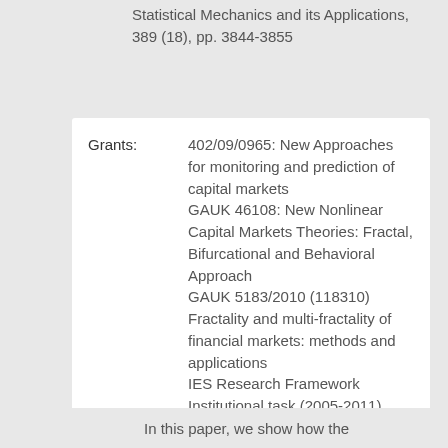Statistical Mechanics and its Applications, 389 (18), pp. 3844-3855
Grants: 402/09/0965: New Approaches for monitoring and prediction of capital markets
GAUK 46108: New Nonlinear Capital Markets Theories: Fractal, Bifurcational and Behavioral Approach
GAUK 5183/2010 (118310) Fractality and multi-fractality of financial markets: methods and applications
IES Research Framework Institutional task (2005-2011) Integration of the Czech economy into European union and its development
In this paper, we show how the